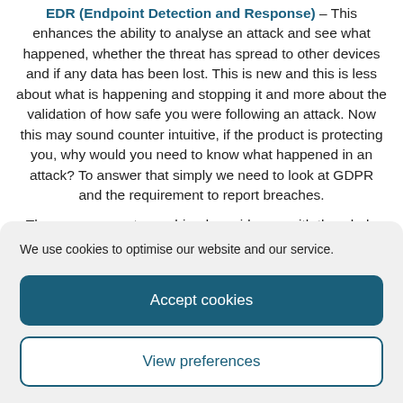EDR (Endpoint Detection and Response) – This enhances the ability to analyse an attack and see what happened, whether the threat has spread to other devices and if any data has been lost. This is new and this is less about what is happening and stopping it and more about the validation of how safe you were following an attack. Now this may sound counter intuitive, if the product is protecting you, why would you need to know what happened in an attack? To answer that simply we need to look at GDPR and the requirement to report breaches.

These components combined provide you with the whole protection cake. You have the ability to protect
We use cookies to optimise our website and our service.
Accept cookies
View preferences